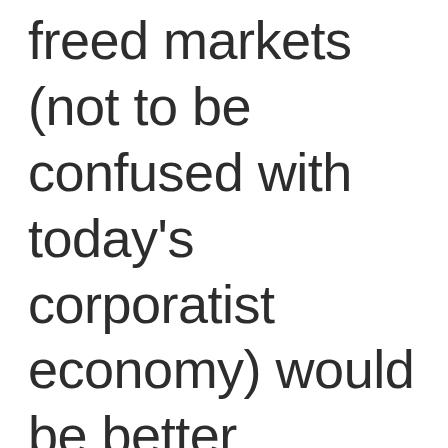freed markets (not to be confused with today's corporatist economy) would be better providers than the